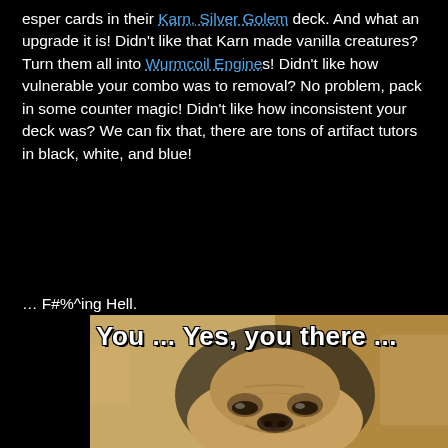esper cards in their Karn, Silver Golem deck. And what an upgrade it is! Didn't like that Karn made vanilla creatures? Turn them all into Wurmcoil Engines! Didn't like how vulnerable your combo was to removal? No problem, pack in some counter magic! Didn't like how inconsistent your deck was? We can fix that, there are tons of artifact tutors in black, white, and blue!
… F#%^ing Hell.
[Figure (photo): Meme image of a pug dog with a skeptical/unimpressed expression. White bold Impact text overlay reads 'You ... Yes, you there ...']